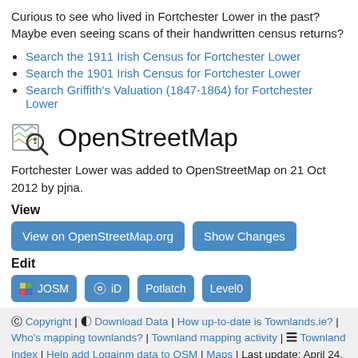Curious to see who lived in Fortchester Lower in the past? Maybe even seeing scans of their handwritten census returns?
Search the 1911 Irish Census for Fortchester Lower
Search the 1901 Irish Census for Fortchester Lower
Search Griffith's Valuation (1847-1864) for Fortchester Lower
OpenStreetMap
Fortchester Lower was added to OpenStreetMap on 21 Oct 2012 by pjna.
View
View on OpenStreetMap.org
Show Changes
Edit
JOSM
iD
Potlatch
Level0
© Copyright | ⬇ Download Data | How up-to-date is Townlands.ie? | Who's mapping townlands? | Townland mapping activity | ☰ Townland Index | Help add Logainm data to OSM | Maps | Last update: April 24, 2022, 8:30 a.m.